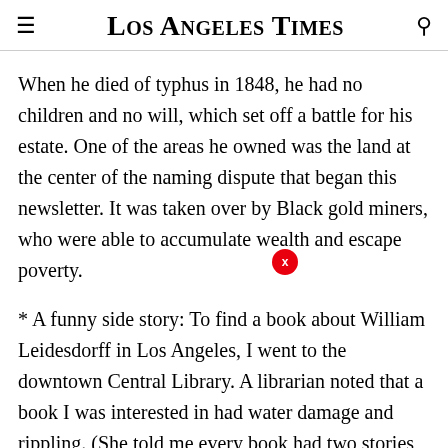Los Angeles Times
When he died of typhus in 1848, he had no children and no will, which set off a battle for his estate. One of the areas he owned was the land at the center of the naming dispute that began this newsletter. It was taken over by Black gold miners, who were able to accumulate wealth and escape poverty.
* A funny side story: To find a book about William Leidesdorff in Los Angeles, I went to the downtown Central Library. A librarian noted that a book I was interested in had water damage and rippling. (She told me every book had two stories — one inside and